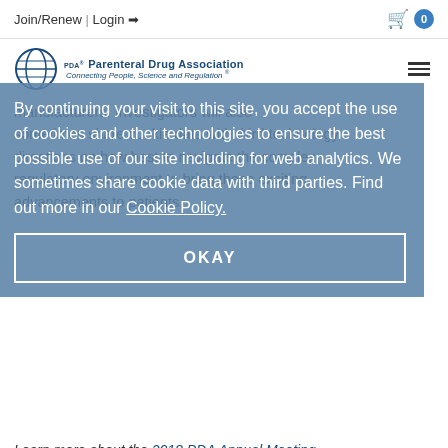Join/Renew | Login  [cart] 0
[Figure (logo): PDA Parenteral Drug Association globe logo with text 'Connecting People, Science and Regulation']
By continuing your visit to this site, you accept the use of cookies and other technologies to ensure the best possible use of our site including for web analytics. We sometimes share cookie data with third parties. Find out more in our Cookie Policy.
OKAY
manufacturers. Investigators will also sometimes share cookie data with third technology, directions on how best to navigate the complex regulatory environment to bring these exciting advancements to patients.
Learn more about the 2018 PDA Annual Meeting.
PDA Members Save Substantially